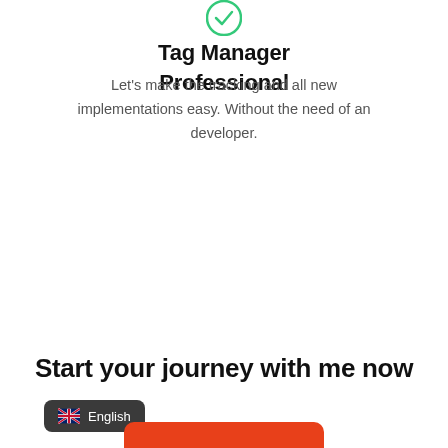[Figure (logo): Green circular logo icon at the top of the page]
Tag Manager
Professional
Let's make the tracking and all new implementations easy. Without the need of an developer.
Start your journey with me now
🇬🇧 English